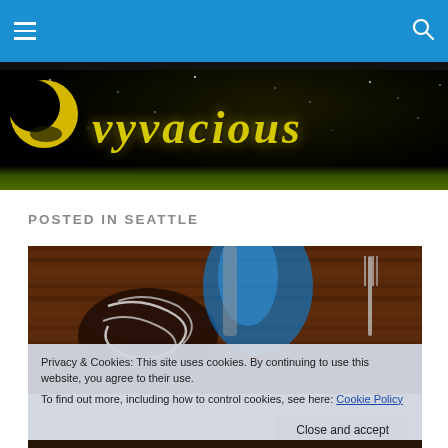Navigation bar with hamburger menu and search icon
[Figure (illustration): Vyvacious blog banner: black background with starfield, yellow crescent moon logo on left, yellow italic text 'vyvacious' in center, green grass strip at bottom]
POSTED IN SEATTLE
[Figure (photo): Food photo showing a bowl of food on a wooden table with blue light glare and fork visible]
Privacy & Cookies: This site uses cookies. By continuing to use this website, you agree to their use.
To find out more, including how to control cookies, see here: Cookie Policy
Close and accept